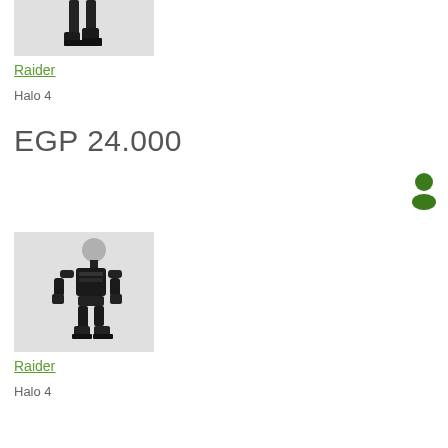[Figure (illustration): Partial view of a black robotic/armored character figure, showing only the legs and feet against a light gray background]
Raider
Halo 4
EGP 24.000
[Figure (illustration): Green person/avatar icon silhouette in the top right area]
[Figure (illustration): Full body black robotic/armored character figure with grey head, in a standing pose against a light gray background]
Raider
Halo 4